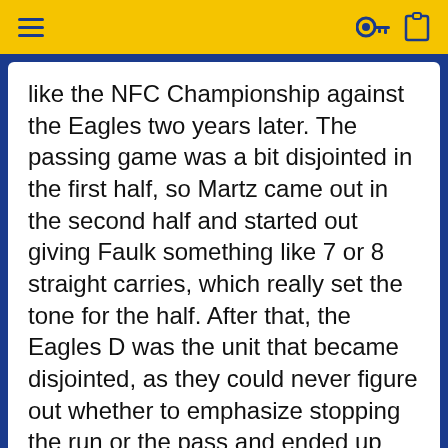like the NFC Championship against the Eagles two years later. The passing game was a bit disjointed in the first half, so Martz came out in the second half and started out giving Faulk something like 7 or 8 straight carries, which really set the tone for the half. After that, the Eagles D was the unit that became disjointed, as they could never figure out whether to emphasize stopping the run or the pass and ended up stopping neither.
Ellard80
Hall of Fame
Joined: Aug 11, 2016   Messages: 4,838